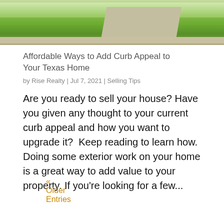[Figure (photo): Aerial or street-level view of a Texas home with green lawn, driveway, and landscaping]
Affordable Ways to Add Curb Appeal to Your Texas Home
by Rise Realty | Jul 7, 2021 | Selling Tips
Are you ready to sell your house? Have you given any thought to your current curb appeal and how you want to upgrade it?  Keep reading to learn how. Doing some exterior work on your home is a great way to add value to your property. If you're looking for a few...
« Older Entries